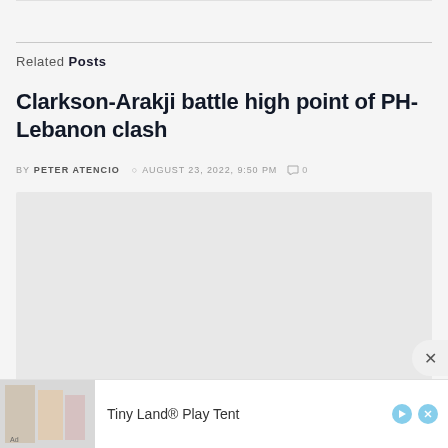Related Posts
Clarkson-Arakji battle high point of PH-Lebanon clash
BY PETER ATENCIO  AUGUST 23, 2022, 9:50 PM  0
[Figure (photo): Article thumbnail image placeholder (light gray rectangle)]
[Figure (other): Advertisement banner: Ad label, giraffe/play tent image, 'Tiny Land® Play Tent' text with play and close buttons]